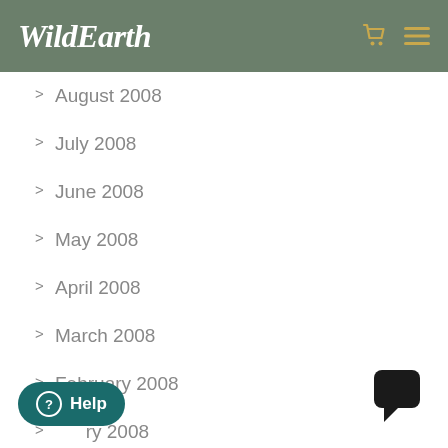WildEarth
August 2008
July 2008
June 2008
May 2008
April 2008
March 2008
February 2008
January 2008
December 2007